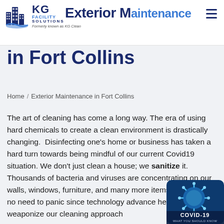KG Facility Maintenance Solutions — Formerly known as KG Clean — Exterior Maintenance
Exterior Maintenance in Fort Collins
Home / Exterior Maintenance in Fort Collins
The art of cleaning has come a long way. The era of using hard chemicals to create a clean environment is drastically changing.  Disinfecting one's home or business has taken a hard turn towards being mindful of our current Covid19 situation. We don't just clean a house; we sanitize it. Thousands of bacteria and viruses are concentrating on our walls, windows, furniture, and many more items around us. no need to panic since technology advance helped us weaponize our cleaning approach
[Figure (photo): COVID-19 virus microscope image with 'COVID-19 WHAT YOU SHOULD KNOW' label in bottom right corner]